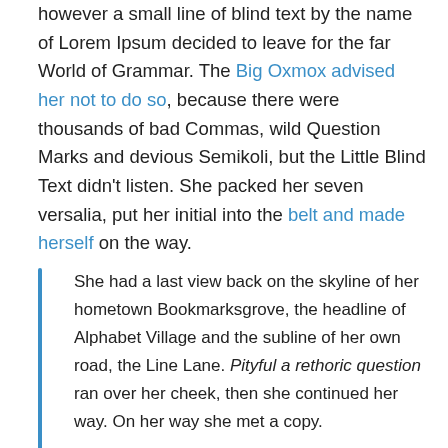however a small line of blind text by the name of Lorem Ipsum decided to leave for the far World of Grammar. The Big Oxmox advised her not to do so, because there were thousands of bad Commas, wild Question Marks and devious Semikoli, but the Little Blind Text didn't listen. She packed her seven versalia, put her initial into the belt and made herself on the way.
She had a last view back on the skyline of her hometown Bookmarksgrove, the headline of Alphabet Village and the subline of her own road, the Line Lane. Pityful a rethoric question ran over her cheek, then she continued her way. On her way she met a copy.

-John Doe